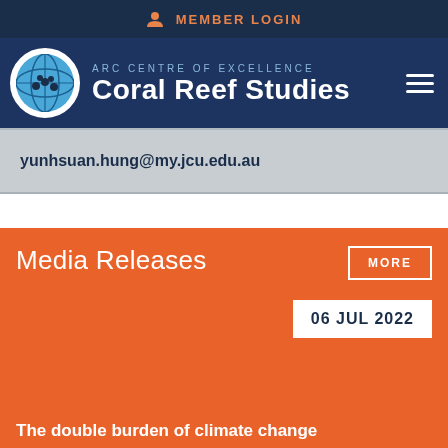MEMBER LOGIN
[Figure (logo): ARC Centre of Excellence Coral Reef Studies logo with globe icon]
yunhsuan.hung@my.jcu.edu.au
Media Releases
MORE
06 JUL 2022
The double burden of climate change